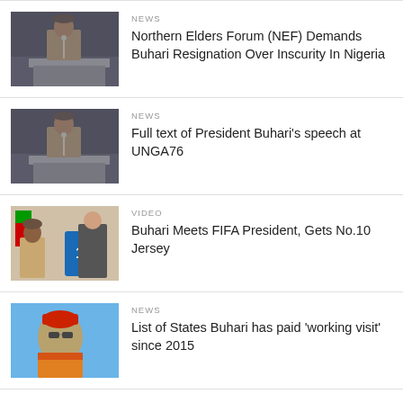[Figure (photo): Man in traditional attire speaking at a podium, appears to be at a UN session]
NEWS
Northern Elders Forum (NEF) Demands Buhari Resignation Over Inscurity In Nigeria
[Figure (photo): Same man in traditional attire at a podium, similar UN session setting]
NEWS
Full text of President Buhari's speech at UNGA76
[Figure (photo): Two men standing together, one holding up a blue jersey with number 10]
VIDEO
Buhari Meets FIFA President, Gets No.10 Jersey
[Figure (photo): Person in red hat and sunglasses with colorful traditional attire, blue sky in background]
NEWS
List of States Buhari has paid 'working visit' since 2015